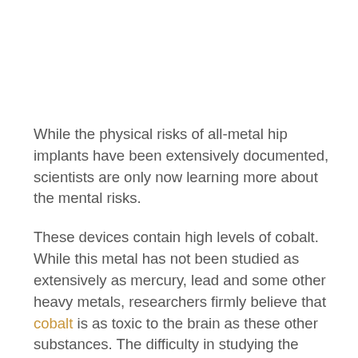While the physical risks of all-metal hip implants have been extensively documented, scientists are only now learning more about the mental risks.
These devices contain high levels of cobalt. While this metal has not been studied as extensively as mercury, lead and some other heavy metals, researchers firmly believe that cobalt is as toxic to the brain as these other substances. The difficulty in studying the effects of all-metal hip implants on the brain has further hampered efforts, as the best way to conduct such research is to surgically remove the